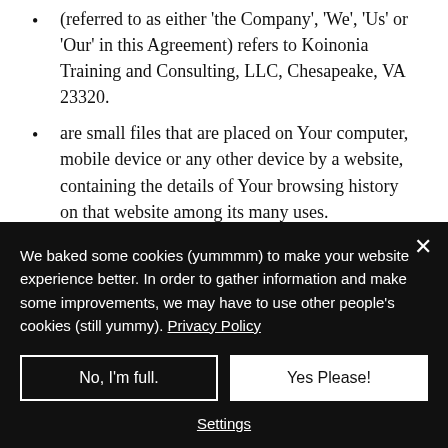(referred to as either 'the Company', 'We', 'Us' or 'Our' in this Agreement) refers to Koinonia Training and Consulting, LLC, Chesapeake, VA 23320.
are small files that are placed on Your computer, mobile device or any other device by a website, containing the details of Your browsing history on that website among its many uses.
refers to: Virginia, United States
We baked some cookies (yummmm) to make your website experience better. In order to gather information and make some improvements, we may have to use other people's cookies (still yummy). Privacy Policy
No, I'm full.
Yes Please!
Settings